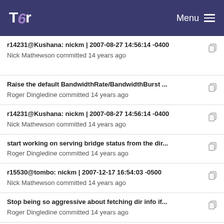Tor Menu
r14231@Kushana: nickm | 2007-08-27 14:56:14 -0400
Nick Mathewson committed 14 years ago
Raise the default BandwidthRate/BandwidthBurst ...
Roger Dingledine committed 14 years ago
r14231@Kushana: nickm | 2007-08-27 14:56:14 -0400
Nick Mathewson committed 14 years ago
start working on serving bridge status from the dir...
Roger Dingledine committed 14 years ago
r15530@tombo: nickm | 2007-12-17 16:54:03 -0500
Nick Mathewson committed 14 years ago
Stop being so aggressive about fetching dir info if...
Roger Dingledine committed 14 years ago
If configured, write cell statistics to disk periodical...